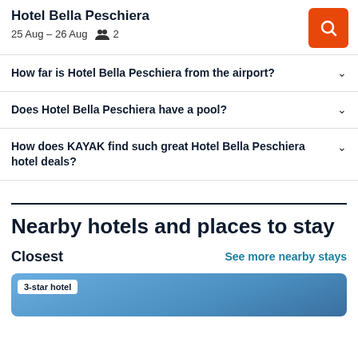Hotel Bella Peschiera
25 Aug – 26 Aug  2
How far is Hotel Bella Peschiera from the airport?
Does Hotel Bella Peschiera have a pool?
How does KAYAK find such great Hotel Bella Peschiera hotel deals?
Nearby hotels and places to stay
Closest
See more nearby stays
[Figure (photo): Hotel card preview image showing a 3-star hotel with blue sky background]